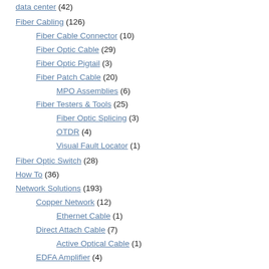data center (42)
Fiber Cabling (126)
Fiber Cable Connector (10)
Fiber Optic Cable (29)
Fiber Optic Pigtail (3)
Fiber Patch Cable (20)
MPO Assemblies (6)
Fiber Testers & Tools (25)
Fiber Optic Splicing (3)
OTDR (4)
Visual Fault Locator (1)
Fiber Optic Switch (28)
How To (36)
Network Solutions (193)
Copper Network (12)
Ethernet Cable (1)
Direct Attach Cable (7)
Active Optical Cable (1)
EDFA Amplifier (4)